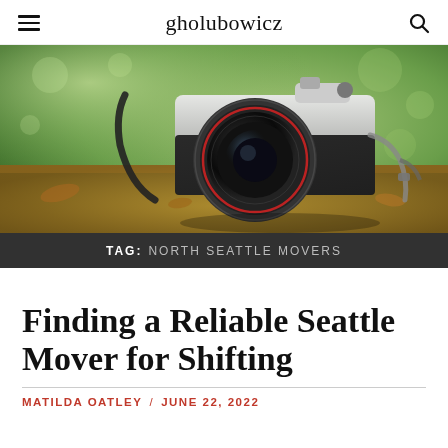gholubowicz
[Figure (photo): A vintage SLR film camera with a large lens sitting on a wooden surface with blurred green bokeh background]
TAG: NORTH SEATTLE MOVERS
Finding a Reliable Seattle Mover for Shifting
MATILDA OATLEY / JUNE 22, 2022